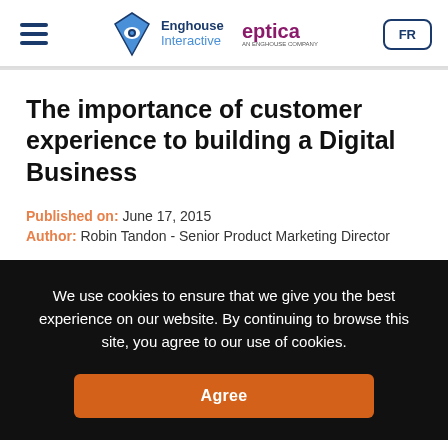Enghouse Interactive | eptica | FR
The importance of customer experience to building a Digital Business
Published on: June 17, 2015
Author: Robin Tandon - Senior Product Marketing Director
We use cookies to ensure that we give you the best experience on our website. By continuing to browse this site, you agree to our use of cookies. Agree